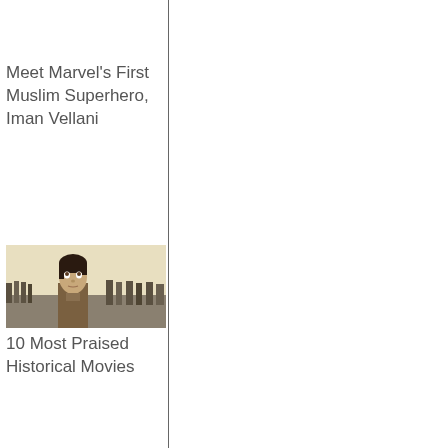Meet Marvel's First Muslim Superhero, Iman Vellani
[Figure (photo): A young man in military/period clothing looking upward, with soldiers in the background, a scene from a war/historical movie (likely Dunkirk)]
10 Most Praised Historical Movies